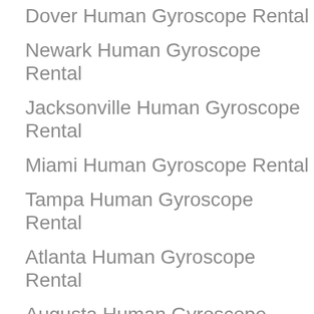Dover Human Gyroscope Rental
Newark Human Gyroscope Rental
Jacksonville Human Gyroscope Rental
Miami Human Gyroscope Rental
Tampa Human Gyroscope Rental
Atlanta Human Gyroscope Rental
Augusta Human Gyroscope Rental
Columbus Human Gyroscope Rental
Honolulu Human Gyroscope Rental
Hilo Human Gyroscope Rental